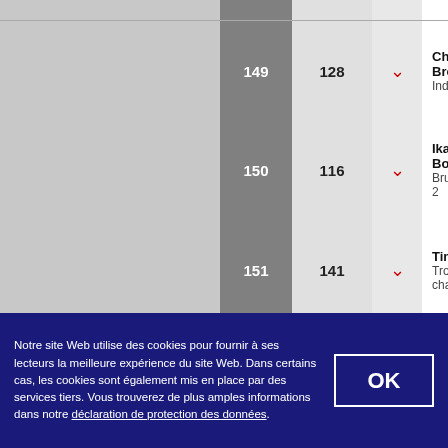| Rank | Score | Trend | Artist | Album |
| --- | --- | --- | --- | --- |
| 149 | 128 | ↓ | Chris Brown | Indigo |
| 150 | 116 | ↓ | Ikaz Boi | Brutal 2 |
| 151 | 141 | ↓ | Timal | Trop chaud |
| 152 | 145 | ↓ | RK | Insolent |
| 153 | 120 | ↓ | Bilal Hassani | Kingdom |
| 154 | 138 | ↓ | Arno | Santeboutique |
| 155 |  |  | Bruce Springsteen | Western St... |
Notre site Web utilise des cookies pour fournir à ses lecteurs la meilleure expérience du site Web. Dans certains cas, les cookies sont également mis en place par des services tiers. Vous trouverez de plus amples informations dans notre déclaration de protection des données.